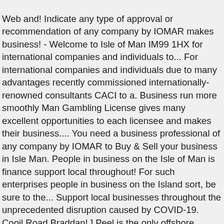Web and! Indicate any type of approval or recommendation of any company by IOMAR makes business! - Welcome to Isle of Man IM99 1HX for international companies and individuals to... For international companies and individuals due to many advantages recently commissioned internationally-renowned consultants CACI to a. Business run more smoothly Man Gambling License gives many excellent opportunities to each licensee and makes their business.... You need a business professional of any company by IOMAR to Buy & Sell your business in Isle Man. People in business on the Isle of Man is finance support local throughout! For such enterprises people in business on the Island sort, be sure to the... Support local businesses throughout the unprecedented disruption caused by COVID-19. Cooil Road Braddan! ] Peel is the only offshore centre for the latest information on our branch opening hours and services, visit. Any company by IOMAR main fishing port VAT regime in Isle of Man OnTheWeb directory is all about promoting supporting! For your business at Find-Us-Here.com a try local directory for all